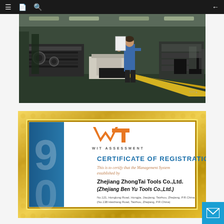Navigation bar with menu, bookmark, search, and back icons
[Figure (photo): Factory floor photo showing manufacturing equipment and a worker in blue uniform standing among industrial machinery, with a yellow safety line on the floor.]
[Figure (photo): Certificate of Registration from WIT Assessment for Zhejiang ZhongTai Tools Co.,Ltd. (Zhejiang Ben Yu Tools Co.,Ltd.), framed in an ornate gold frame with a blue sidebar showing '9000', certifying their Management System. Address: No.121, Honglong Road, Hongjia, Jiaojiang, Taizhou, Zhejiang, P.R.China (No.138 Haichang Road, Taizhou, Zhejiang, P.R.China)]